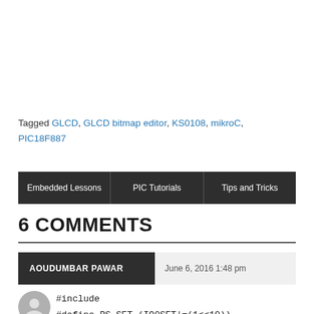Tagged GLCD, GLCD bitmap editor, KS0108, mikroC, PIC18F887
Embedded Lessons
PIC Tutorials
Tips and Tricks
6 COMMENTS
AOUDUMBAR PAWAR — June 6, 2016 1:48 pm
#include
#define RS_SET (IO0SET|=(1<<10))
#define RS_CLR (IO0CLR|=(1<<10))